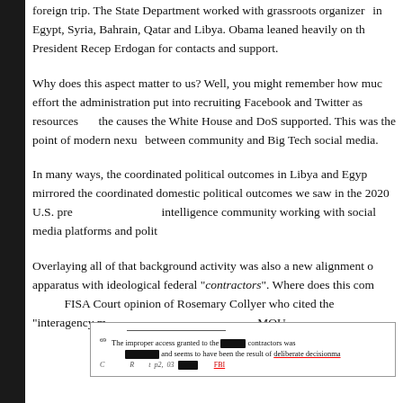foreign trip. The State Department worked with grassroots organizers in Egypt, Syria, Bahrain, Qatar and Libya. Obama leaned heavily on the President Recep Erdogan for contacts and support.
Why does this aspect matter to us? Well, you might remember how much effort the administration put into recruiting Facebook and Twitter as resources for the causes the White House and DoS supported. This was the point of modern nexus between community and Big Tech social media.
In many ways, the coordinated political outcomes in Libya and Egypt mirrored the coordinated domestic political outcomes we saw in the 2020 U.S. presidential election; intelligence community working with social media platforms and polit...
Overlaying all of that background activity was also a new alignment of the intelligence apparatus with ideological federal "contractors". Where does this come from? The 2017 FISA Court opinion of Rosemary Collyer who cited the "interagency memorandum of understanding" MOU.
69 The improper access granted to the [REDACTED] contractors was [REDACTED] and seems to have been the result of deliberate decisionma... [REDACTED] FBI...